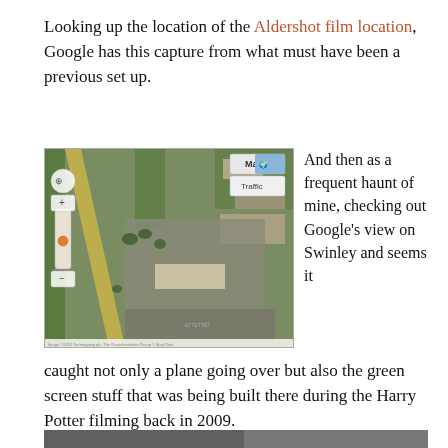Looking up the location of the Aldershot film location, Google has this capture from what must have been a previous set up.
[Figure (screenshot): Google Maps satellite view of the Aldershot film location showing an aerial view of a large open area with buildings, roads, and what appears to be a film set with a Map/Traffic overlay button visible.]
And then as a frequent haunt of mine, checking out Google's view on Swinley and seems it caught not only a plane going over but also the green screen stuff that was being built there during the Harry Potter filming back in 2009.
[Figure (photo): Partially visible photo at bottom of page.]